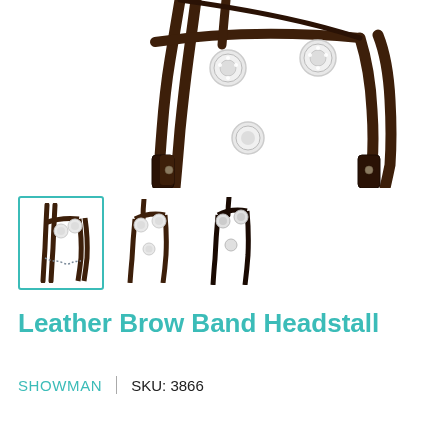[Figure (photo): Close-up photo of a dark brown leather brow band headstall with decorative silver rhinestone conchos, shown laid flat against a white background. Multiple straps and hardware visible.]
[Figure (photo): Three thumbnail images of the leather brow band headstall: first (selected, with teal border) showing front view, second showing side/front view, third showing another angle.]
Leather Brow Band Headstall
SHOWMAN  |  SKU: 3866